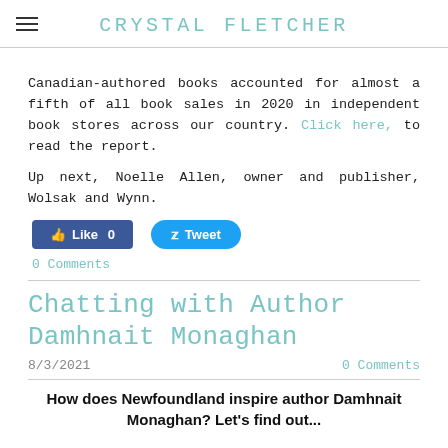CRYSTAL FLETCHER
Canadian-authored books accounted for almost a fifth of all book sales in 2020 in independent book stores across our country. Click here, to read the report.
Up next, Noelle Allen, owner and publisher, Wolsak and Wynn.
[Figure (other): Social media buttons: Facebook Like (0) and Twitter Tweet]
0 Comments
Chatting with Author Damhnait Monaghan
8/3/2021   0 Comments
How does Newfoundland inspire author Damhnait Monaghan? Let's find out...